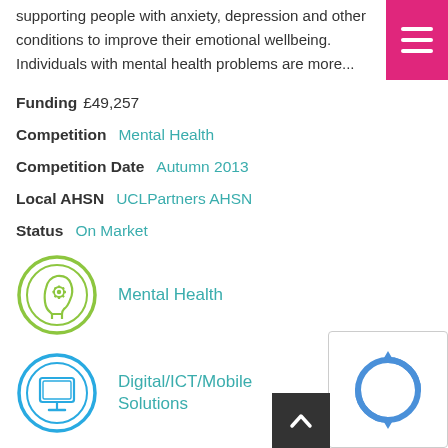supporting people with anxiety, depression and other conditions to improve their emotional wellbeing. Individuals with mental health problems are more…
Funding £49,257
Competition Mental Health
Competition Date Autumn 2013
Local AHSN UCLPartners AHSN
Status On Market
[Figure (illustration): Green circle icon with a side-profile head silhouette and a gear/cog symbol inside it, representing Mental Health]
Mental Health
[Figure (illustration): Teal circle icon with a desktop computer monitor and stand, representing Digital/ICT/Mobile Solutions]
Digital/ICT/Mobile Solutions